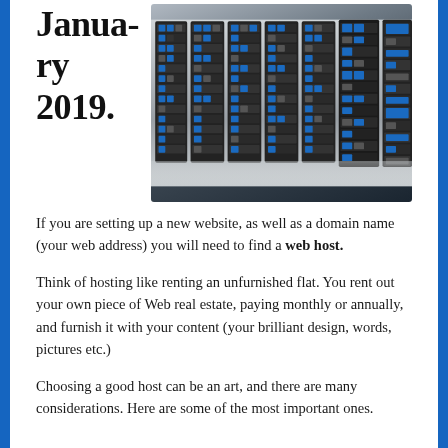January 2019.
[Figure (photo): Bank of server racks in a data center, showing rows of dark server units with blue indicator lights, photographed from a low angle with floor reflection.]
If you are setting up a new website, as well as a domain name (your web address) you will need to find a web host. Think of hosting like renting an unfurnished flat. You rent out your own piece of Web real estate, paying monthly or annually, and furnish it with your content (your brilliant design, words, pictures etc.) Choosing a good host can be an art, and there are many considerations. Here are some of the most important ones.